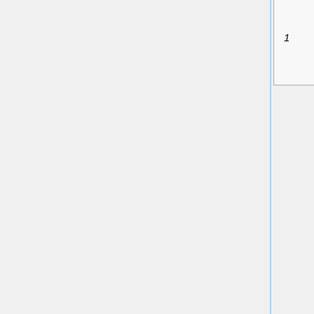| 1 | Identify | 0 | 1 Rd / Level |
| 1 | Fist of Stone | 0 | 1 rd / level |
| 1 | Spook | 30 FT | Special |
Spells wanted to Find & Learn: 1st: Mount-PHB, Copy-WHB, Burning Hands-PHB, Mending-PHB, Feather fall-